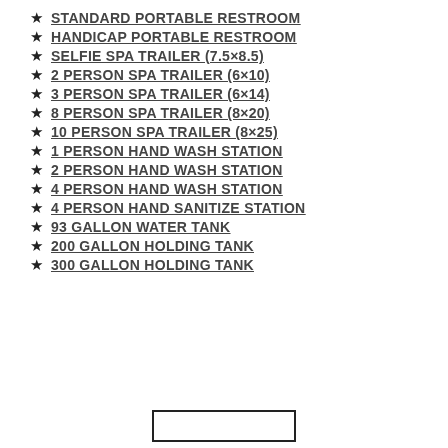★ STANDARD PORTABLE RESTROOM
★ HANDICAP PORTABLE RESTROOM
★ SELFIE SPA TRAILER (7.5×8.5)
★ 2 PERSON SPA TRAILER (6×10)
★ 3 PERSON SPA TRAILER (6×14)
★ 8 PERSON SPA TRAILER (8×20)
★ 10 PERSON SPA TRAILER (8×25)
★ 1 PERSON HAND WASH STATION
★ 2 PERSON HAND WASH STATION
★ 4 PERSON HAND WASH STATION
★ 4 PERSON HAND SANITIZE STATION
★ 93 GALLON WATER TANK
★ 200 GALLON HOLDING TANK
★ 300 GALLON HOLDING TANK